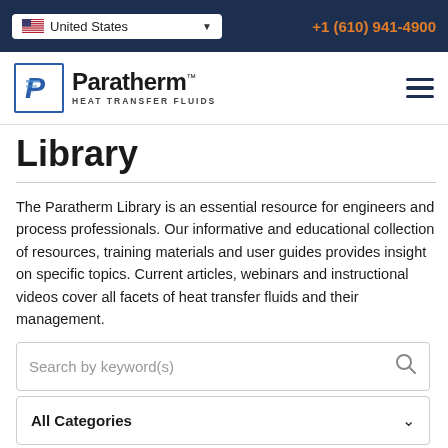United States | +1 (610) 941-4900
[Figure (logo): Paratherm Heat Transfer Fluids logo with stylized P in blue box]
Library
The Paratherm Library is an essential resource for engineers and process professionals. Our informative and educational collection of resources, training materials and user guides provides insight on specific topics. Current articles, webinars and instructional videos cover all facets of heat transfer fluids and their management.
Search by keyword(s)
All Categories